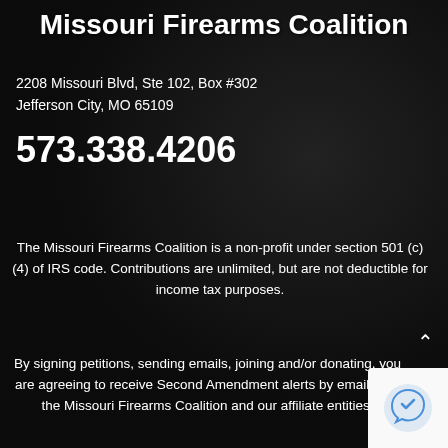Missouri Firearms Coalition
2208 Missouri Blvd, Ste 102, Box #302
Jefferson City, MO 65109
573.338.4206
The Missouri Firearms Coalition is a non-profit under section 501 (c)(4) of IRS code. Contributions are unlimited, but are not deductible for income tax purposes.
By signing petitions, sending emails, joining and/or donating, you are agreeing to receive Second Amendment alerts by email from the Missouri Firearms Coalition and our affiliate entities.